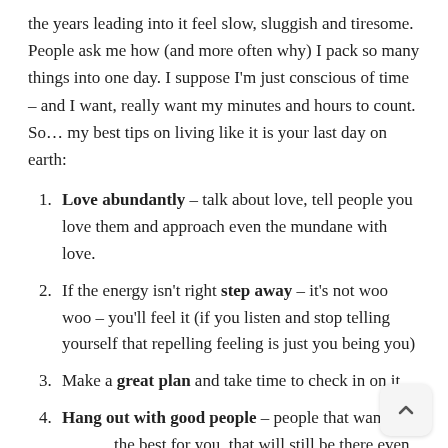the years leading into it feel slow, sluggish and tiresome. People ask me how (and more often why) I pack so many things into one day. I suppose I'm just conscious of time – and I want, really want my minutes and hours to count. So… my best tips on living like it is your last day on earth:
Love abundantly – talk about love, tell people you love them and approach even the mundane with love.
If the energy isn't right step away – it's not woo woo – you'll feel it (if you listen and stop telling yourself that repelling feeling is just you being you)
Make a great plan and take time to check in on it
Hang out with good people – people that want the best for you, that will still be there even